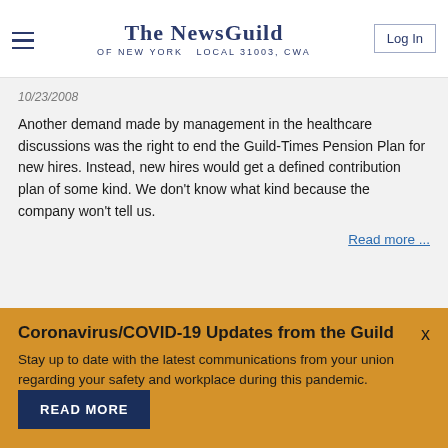The NewsGuild of New York Local 31003, CWA
10/23/2008
Another demand made by management in the healthcare discussions was the right to end the Guild-Times Pension Plan for new hires. Instead, new hires would get a defined contribution plan of some kind. We don't know what kind because the company won't tell us.
Read more ...
Coronavirus/COVID-19 Updates from the Guild
Stay up to date with the latest communications from your union regarding your safety and workplace during this pandemic.
READ MORE